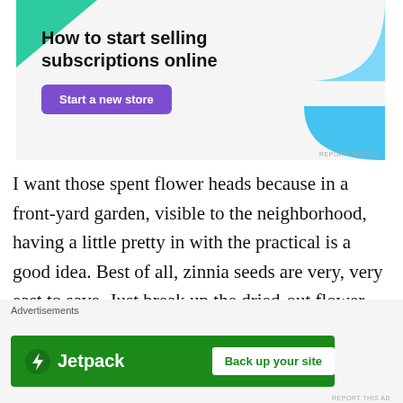[Figure (infographic): Advertisement banner for selling subscriptions online. Light gray background with green triangle shape top-left, blue arc shapes top-right and bottom-right. Bold text 'How to start selling subscriptions online' with purple 'Start a new store' button. 'REPORT THIS AD' text bottom-right.]
I want those spent flower heads because in a front-yard garden, visible to the neighborhood, having a little pretty in with the practical is a good idea. Best of all, zinnia seeds are very, very east to save. Just break up the dried-out flower and there is one seed at the base of each petal. Store in an air-tight container in a cool, dry, dark place,
[Figure (infographic): Jetpack advertisement banner. Green background with Jetpack logo (lightning bolt icon) and text 'Jetpack' on the left, 'Back up your site' button on the right. Labeled 'Advertisements' above. 'REPORT THIS AD' text below.]